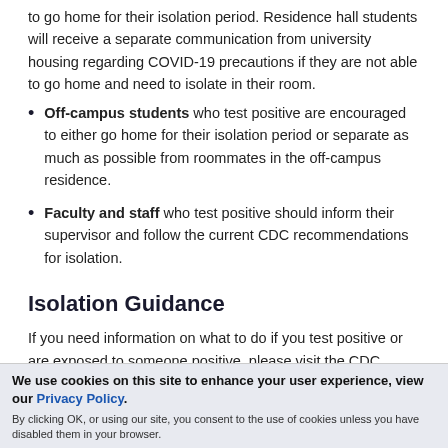to go home for their isolation period. Residence hall students will receive a separate communication from university housing regarding COVID-19 precautions if they are not able to go home and need to isolate in their room.
Off-campus students who test positive are encouraged to either go home for their isolation period or separate as much as possible from roommates in the off-campus residence.
Faculty and staff who test positive should inform their supervisor and follow the current CDC recommendations for isolation.
Isolation Guidance
If you need information on what to do if you test positive or are exposed to someone positive, please visit the CDC
We use cookies on this site to enhance your user experience, view our Privacy Policy.
By clicking OK, or using our site, you consent to the use of cookies unless you have disabled them in your browser.